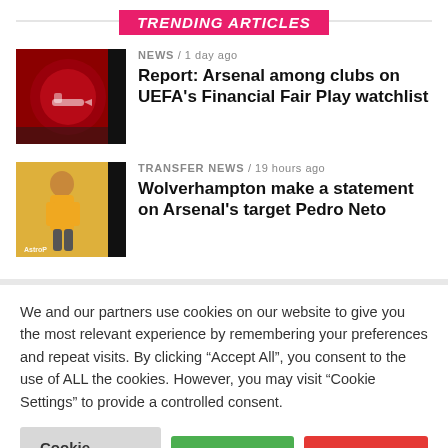TRENDING ARTICLES
[Figure (photo): Arsenal stadium exterior with club crest visible]
NEWS / 1 day ago
Report: Arsenal among clubs on UEFA's Financial Fair Play watchlist
[Figure (photo): Pedro Neto in Wolverhampton yellow kit with AstroPay sponsor]
TRANSFER NEWS / 19 hours ago
Wolverhampton make a statement on Arsenal's target Pedro Neto
We and our partners use cookies on our website to give you the most relevant experience by remembering your preferences and repeat visits. By clicking “Accept All”, you consent to the use of ALL the cookies. However, you may visit “Cookie Settings” to provide a controlled consent.
Cookie Settings
Accept All
Reject All